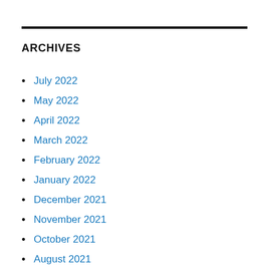ARCHIVES
July 2022
May 2022
April 2022
March 2022
February 2022
January 2022
December 2021
November 2021
October 2021
August 2021
July 2021
June 2021